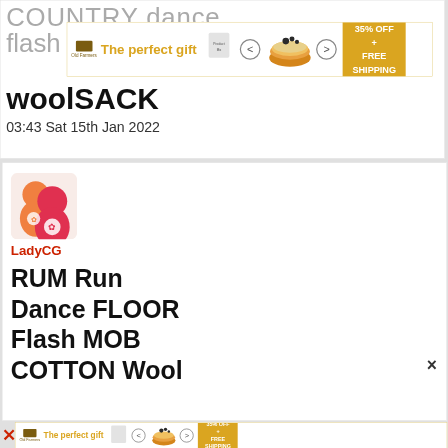COUNTRY dance
flas...
[Figure (infographic): Advertisement banner: Old Farmers product gift ad with bowl of oatmeal/porridge image, navigation arrows, and '35% OFF + FREE SHIPPING' badge in gold]
woolSACK
03:43 Sat 15th Jan 2022
[Figure (illustration): User avatar showing two cartoon figures (orange and red/pink) with a flower symbol, representing LadyCG]
LadyCG
RUM Run
Dance FLOOR
Flash MOB
COTTON Wool
[Figure (infographic): Bottom advertisement banner: same Old Farmers gift ad with '35% OFF + FREE SHIPPING' badge]